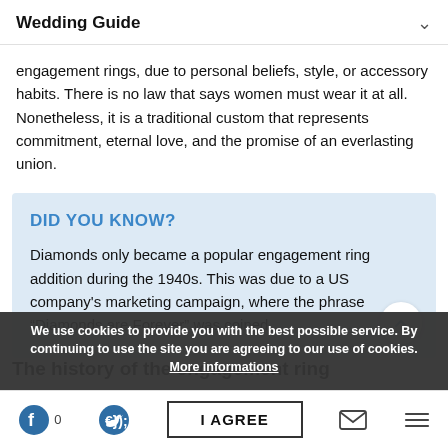Wedding Guide
engagement rings, due to personal beliefs, style, or accessory habits. There is no law that says women must wear it at all. Nonetheless, it is a traditional custom that represents commitment, eternal love, and the promise of an everlasting union.
DID YOU KNOW?
Diamonds only became a popular engagement ring addition during the 1940s. This was due to a US company's marketing campaign, where the phrase “Diamonds are Forever” was coined.
The history of the engagement ring
We use cookies to provide you with the best possible service. By continuing to use the site you are agreeing to our use of cookies. More informations
I AGREE | Facebook 0 | Twitter | Mail | Menu